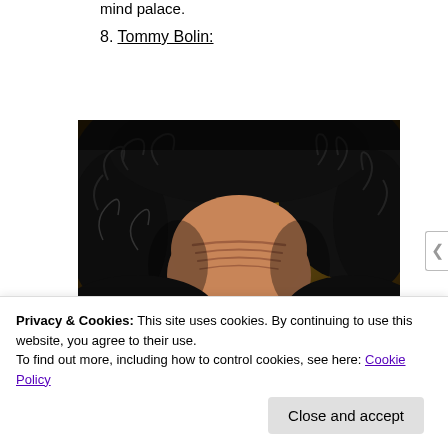mind palace.
8. Tommy Bolin:
[Figure (photo): Close-up photo of a person with long dark curly hair, head tilted back, against a warm brown/golden background. The forehead with wrinkled skin is prominently visible.]
Privacy & Cookies: This site uses cookies. By continuing to use this website, you agree to their use.
To find out more, including how to control cookies, see here: Cookie Policy
Close and accept